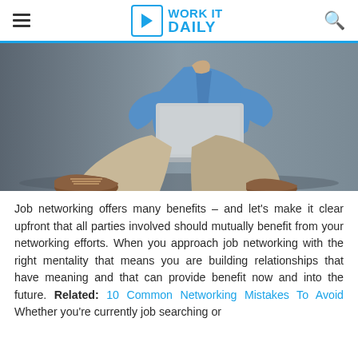WORK IT DAILY
[Figure (photo): Person sitting cross-legged on the floor working on a laptop, wearing khaki pants, brown shoes, and a blue shirt. Gray background.]
Job networking offers many benefits – and let's make it clear upfront that all parties involved should mutually benefit from your networking efforts. When you approach job networking with the right mentality that means you are building relationships that have meaning and that can provide benefit now and into the future. Related: 10 Common Networking Mistakes To Avoid Whether you're currently job searching or